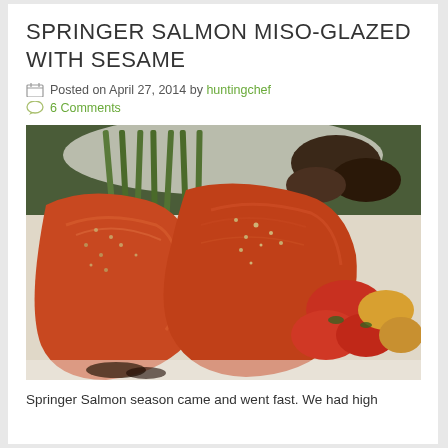SPRINGER SALMON MISO-GLAZED WITH SESAME
Posted on April 27, 2014 by huntingchef
6 Comments
[Figure (photo): Miso-glazed springer salmon fillets with sesame seeds on a white plate, accompanied by roasted asparagus, mushrooms, and tomatoes]
Springer Salmon season came and went fast. We had high